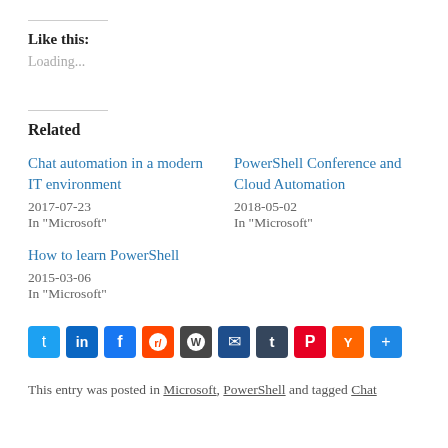Like this:
Loading...
Related
Chat automation in a modern IT environment
2017-07-23
In "Microsoft"
PowerShell Conference and Cloud Automation
2018-05-02
In "Microsoft"
How to learn PowerShell
2015-03-06
In "Microsoft"
[Figure (infographic): Social share buttons: Twitter, LinkedIn, Facebook, Reddit, WordPress, Email, Tumblr, Pinterest, Hacker News, Share]
This entry was posted in Microsoft, PowerShell and tagged Chat